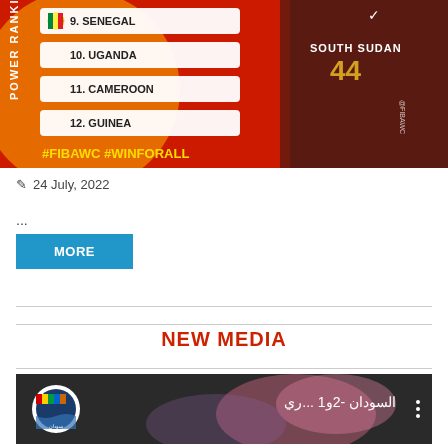[Figure (photo): FIBA World Cup power rankings graphic showing a South Sudan basketball player wearing jersey number 44, with country rankings: 9. Senegal, 10. Uganda, 11. Cameroon, 12. Guinea. Red background with #FIBAWC #WINFORALL text.]
24 July, 2022
...
MORE
NEW MEDIA
[Figure (screenshot): Video thumbnail showing Arabic text 'السودان -2و1 ...ري' with a circular logo on the left featuring a colorful emblem, on a dark background with a three-dot menu icon.]